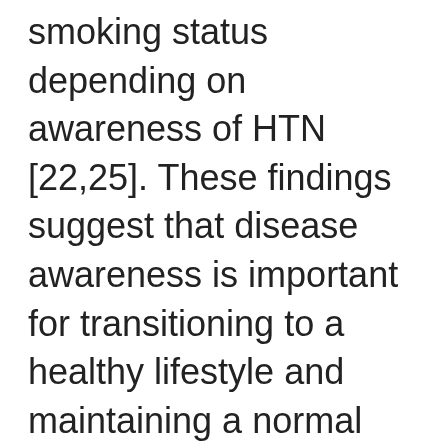smoking status depending on awareness of HTN [22,25]. These findings suggest that disease awareness is important for transitioning to a healthy lifestyle and maintaining a normal weight. In this study, 16.5% of individuals did not have a HTN diagnosis and were unaware of HTN